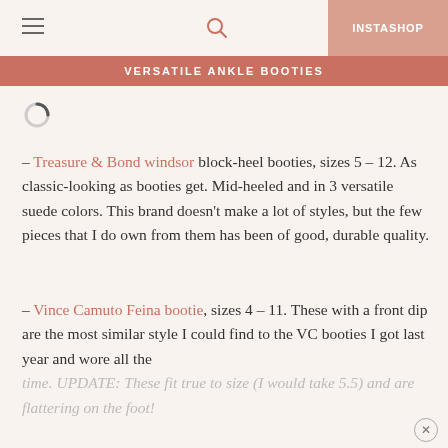☰  🔍  INSTASHOP
VERSATILE ANKLE BOOTIES
[Figure (other): Loading spinner icon]
– Treasure & Bond windsor block-heel booties, sizes 5 – 12. As classic-looking as booties get. Mid-heeled and in 3 versatile suede colors. This brand doesn't make a lot of styles, but the few pieces that I do own from them has been of good, durable quality.
– Vince Camuto Feina bootie, sizes 4 – 11. These with a front dip are the most similar style I could find to the VC booties I got last year and wore all the time. UPDATE: These fit true to size (I would take 5.5) and are flattering on the foot!